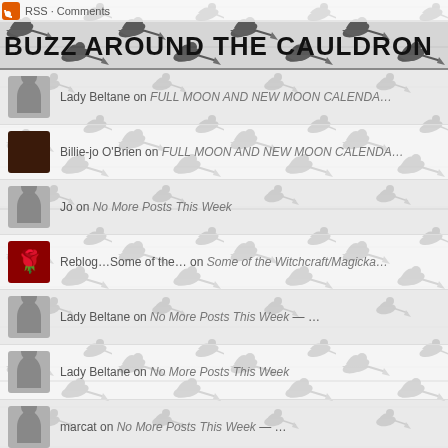RSS · Comments
BUZZ AROUND THE CAULDRON
Lady Beltane on FULL MOON AND NEW MOON CALENDA…
Billie-jo O'Brien on FULL MOON AND NEW MOON CALENDA…
Jo on No More Posts This Week
Reblog…Some of the… on Some of the Witchcraft/Magicka…
Lady Beltane on No More Posts This Week
Lady Beltane on No More Posts This Week
marcat on No More Posts This Week